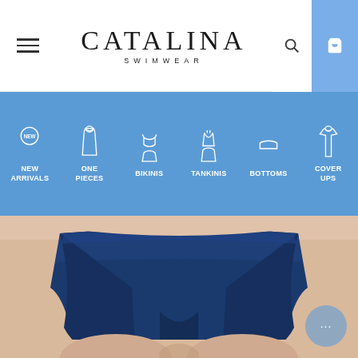Catalina Swimwear — navigation header with hamburger menu, brand logo, search and cart icons
[Figure (screenshot): Catalina Swimwear website navigation bar showing icons and labels: New Arrivals, One Pieces, Bikinis, Tankinis, Bottoms, Cover Ups on a blue background]
[Figure (photo): Product photo of navy blue swim shorts/boyshort bottoms worn by a model, cropped to show waist and thighs on a beige background]